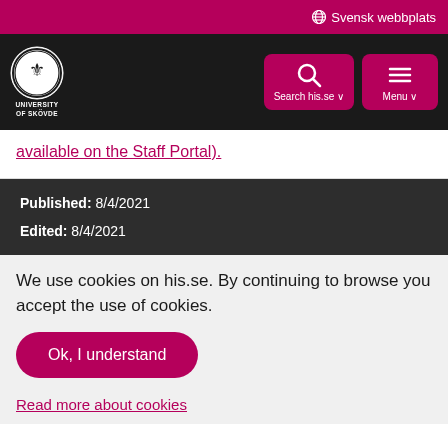Svensk webbplats
[Figure (logo): University of Skövde logo with crest and navigation buttons for Search his.se and Menu]
available on the Staff Portal).
Published: 8/4/2021
Edited: 8/4/2021
We use cookies on his.se. By continuing to browse you accept the use of cookies.
Ok, I understand
Read more about cookies